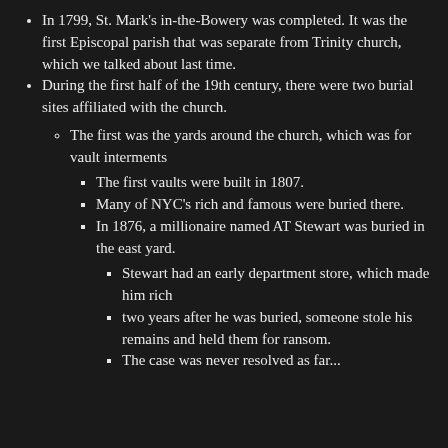In 1799, St. Mark's in-the-Bowery was completed. It was the first Episcopal parish that was separate from Trinity church, which we talked about last time.
During the first half of the 19th century, there were two burial sites affiliated with the church.
The first was the yards around the church, which was for vault interments
The first vaults were built in 1807.
Many of NYC's rich and famous were buried there.
In 1876, a millionaire named AT Stewart was buried in the east yard.
Stewart had an early department store, which made him rich
two years after he was buried, someone stole his remains and held them for ransom.
The case was never resolved as far...